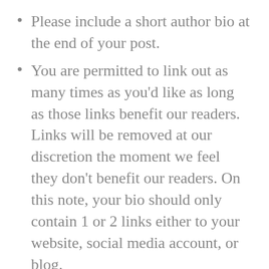Please include a short author bio at the end of your post.
You are permitted to link out as many times as you'd like as long as those links benefit our readers. Links will be removed at our discretion the moment we feel they don't benefit our readers. On this note, your bio should only contain 1 or 2 links either to your website, social media account, or blog.